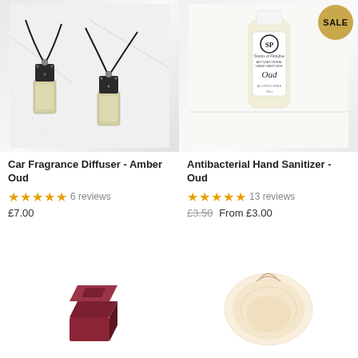[Figure (photo): Car fragrance diffuser product image - two small glass bottle diffusers with black rope/tassel hanging cords on a marble surface]
[Figure (photo): Antibacterial hand sanitizer bottle labeled Oud by Scents of Paradise, alcohol-free, with a SALE badge in the top right corner]
Car Fragrance Diffuser - Amber Oud
★★★★★ 6 reviews
£7.00
Antibacterial Hand Sanitizer - Oud
★★★★★ 13 reviews
£3.50 From £3.00
[Figure (photo): Small dark red/maroon square soap or wax melt product]
[Figure (photo): Sheer organza sachet bag with light peach/cream color containing product]